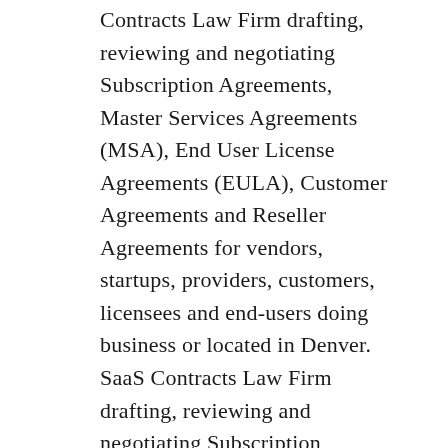Contracts Law Firm drafting, reviewing and negotiating Subscription Agreements, Master Services Agreements (MSA), End User License Agreements (EULA), Customer Agreements and Reseller Agreements for vendors, startups, providers, customers, licensees and end-users doing business or located in Denver. SaaS Contracts Law Firm drafting, reviewing and negotiating Subscription Agreements, Master Services Agreements (MSA), End User License Agreements (EULA), Customer Agreements and Reseller Agreements for vendors, startups, providers, customers, licensees and end-users doing business or located in Rochester. SaaS Contracts Law Firm drafting, reviewing and negotiating Subscription Agreements, Master Services Agreements (MSA), End User License Agreements (EULA), Customer Agreements and